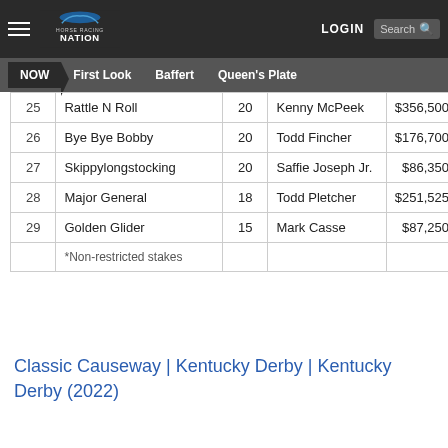Horse Racing Nation — NOW | First Look | Baffert | Queen's Plate
| # | Horse | Pts | Trainer | Earnings |
| --- | --- | --- | --- | --- |
| 25 | Rattle N Roll | 20 | Kenny McPeek | $356,500 |
| 26 | Bye Bye Bobby | 20 | Todd Fincher | $176,700 |
| 27 | Skippylongstocking | 20 | Saffie Joseph Jr. | $86,350 |
| 28 | Major General | 18 | Todd Pletcher | $251,525 |
| 29 | Golden Glider | 15 | Mark Casse | $87,250 |
|  | *Non-restricted stakes |  |  |  |
Classic Causeway | Kentucky Derby | Kentucky Derby (2022)